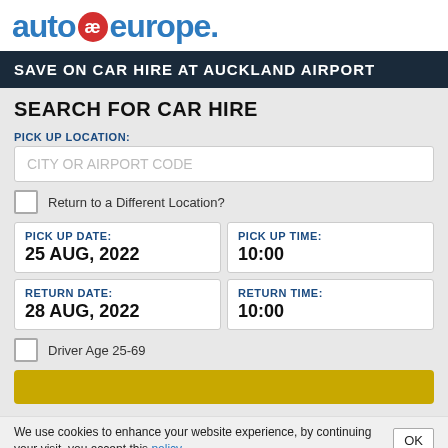[Figure (logo): Auto Europe logo with blue text and red circular ae symbol]
SAVE ON CAR HIRE AT AUCKLAND AIRPORT
SEARCH FOR CAR HIRE
PICK UP LOCATION:
CITY OR AIRPORT CODE
Return to a Different Location?
PICK UP DATE: 25 AUG, 2022
PICK UP TIME: 10:00
RETURN DATE: 28 AUG, 2022
RETURN TIME: 10:00
Driver Age 25-69
We use cookies to enhance your website experience, by continuing your visit, you accept this policy.